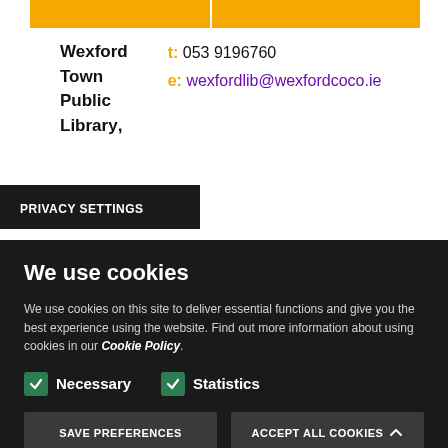Wexford Town Public Library,
t: 053 9196760
e: wexfordlib@wexfordcoco.ie
Mallin St
PRIVACY SETTINGS
We use cookies
We use cookies on this site to deliver essential functions and give you the best experience using the website. Find out more information about using cookies in our Cookie Policy.
Necessary
Statistics
SAVE PREFERENCES
ACCEPT ALL COOKIES